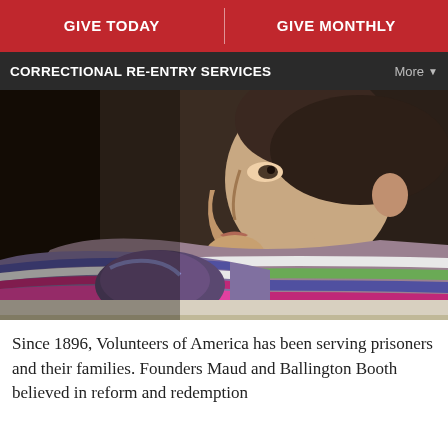GIVE TODAY | GIVE MONTHLY
CORRECTIONAL RE-ENTRY SERVICES
[Figure (photo): A young girl wearing a colorful striped knit sweater, looking pensively out a window. She is in profile, with dark hair and a thoughtful expression, resting her arms on a surface.]
Since 1896, Volunteers of America has been serving prisoners and their families. Founders Maud and Ballington Booth believed in reform and redemption